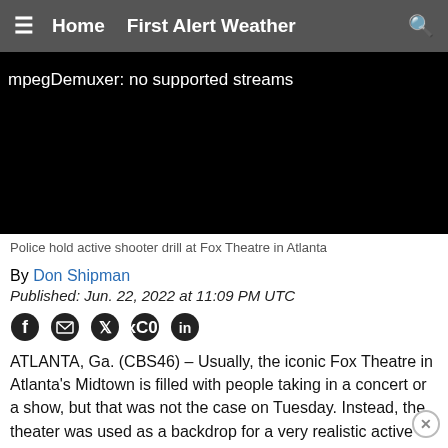≡  Home  First Alert Weather  🔍
[Figure (screenshot): Black video player area showing error text: mpegDemuxer: no supported streams]
Police hold active shooter drill at Fox Theatre in Atlanta
By Don Shipman
Published: Jun. 22, 2022 at 11:09 PM UTC
[Figure (infographic): Social media share icons: Facebook, Email, Twitter, Pinterest, LinkedIn]
ATLANTA, Ga. (CBS46) – Usually, the iconic Fox Theatre in Atlanta's Midtown is filled with people taking in a concert or a show, but that was not the case on Tuesday. Instead, the theater was used as a backdrop for a very realistic active shooter drill.
One by one, victims were carried out of the theater on